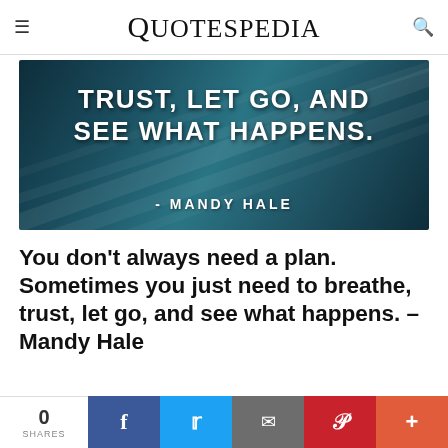Quotespedia
[Figure (photo): Dark teal banner image with white bold text: TRUST, LET GO, AND SEE WHAT HAPPENS. - MANDY HALE]
You don’t always need a plan. Sometimes you just need to breathe, trust, let go, and see what happens. – Mandy Hale
0 SHARES | Facebook | Twitter | Email | Pinterest | Plus